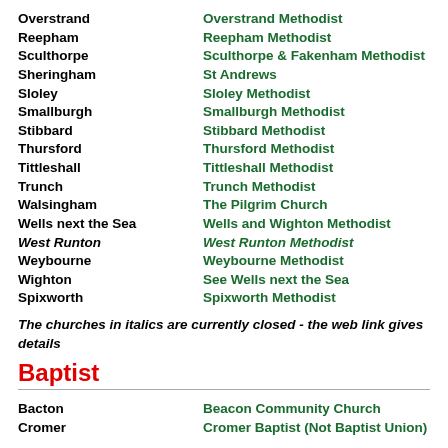Overstrand | Overstrand Methodist
Reepham | Reepham Methodist
Sculthorpe | Sculthorpe & Fakenham Methodist
Sheringham | St Andrews
Sloley | Sloley Methodist
Smallburgh | Smallburgh Methodist
Stibbard | Stibbard Methodist
Thursford | Thursford Methodist
Tittleshall | Tittleshall Methodist
Trunch | Trunch Methodist
Walsingham | The Pilgrim Church
Wells next the Sea | Wells and Wighton Methodist
West Runton | West Runton Methodist
Weybourne | Weybourne Methodist
Wighton | See Wells next the Sea
Spixworth | Spixworth Methodist
The churches in italics are currently closed - the web link gives details
Baptist
Bacton | Beacon Community Church
Cromer | Cromer Baptist (Not Baptist Union)